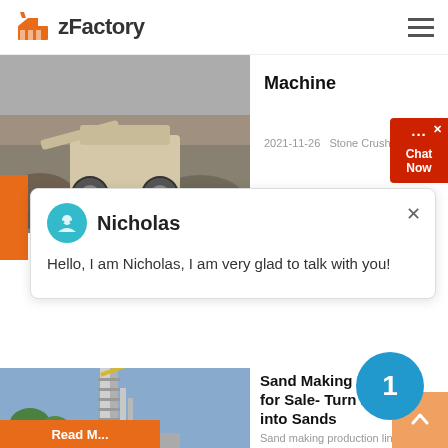zFactory
[Figure (photo): Stone crusher machine working at a rocky quarry site]
Machine
2021-11-26   Stone Crusher M...
[Figure (screenshot): Chat popup with Nicholas avatar saying Hello, I am Nicholas, I am very glad to talk with you!]
[Figure (photo): Sand making machine industrial tower structure against blue sky]
Sand Making Machine for Sale- Turn Rocks into Sands
Sand making production line is a...